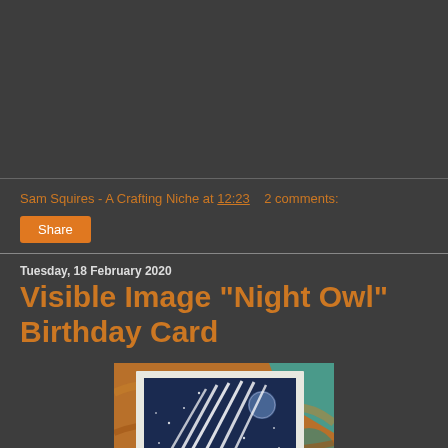Sam Squires - A Crafting Niche at 12:23    2 comments:
Share
Tuesday, 18 February 2020
Visible Image "Night Owl" Birthday Card
[Figure (photo): A handmade birthday card featuring a night owl design with dark blue background showing radiating lines and a moon, mounted on a brown/teal marbled background.]